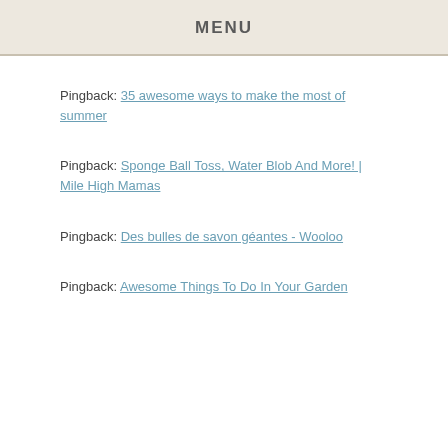MENU
Pingback: 35 awesome ways to make the most of summer
Pingback: Sponge Ball Toss, Water Blob And More! | Mile High Mamas
Pingback: Des bulles de savon géantes - Wooloo
Pingback: Awesome Things To Do In Your Garden